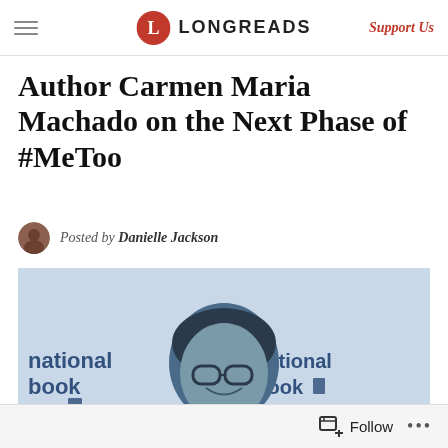LONGREADS | Support Us
Author Carmen Maria Machado on the Next Phase of #MeToo
Posted by Danielle Jackson
[Figure (photo): Carmen Maria Machado smiling at National Book Awards/Foundation event, blue-tinted black and white photo]
Follow ...